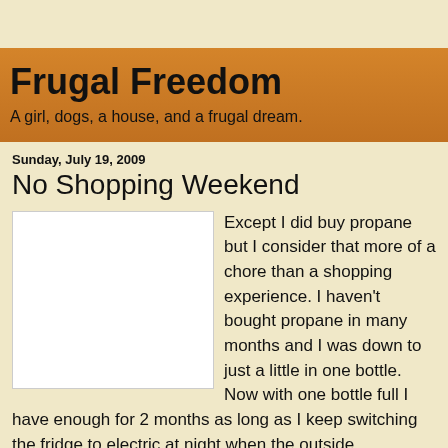Frugal Freedom
A girl, dogs, a house, and a frugal dream.
Sunday, July 19, 2009
No Shopping Weekend
[Figure (photo): A white/light colored image placeholder (photo not loaded)]
Except I did buy propane but I consider that more of a chore than a shopping experience. I haven't bought propane in many months and I was down to just a little in one bottle. Now with one bottle full I have enough for 2 months as long as I keep switching the fridge to electric at night when the outside temperature is cooler than 90. Hopefully, in October, I can switch to electric full time for the winter. The woman at the RV park where I get my propane agreed with me that the